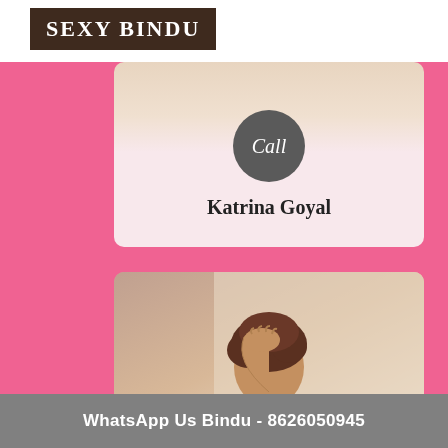SEXY BINDU
[Figure (illustration): Card with a dark grey circle badge labeled 'Call' in italic text, overlaid on a light pink card. Below the badge is the name 'Katrina Goyal' in bold serif font.]
Katrina Goyal
[Figure (photo): Photo of a person with brown curly hair, hand raised to head, against a light beige background.]
Call Bindu Now - 8626050945
WhatsApp Us Bindu - 8626050945